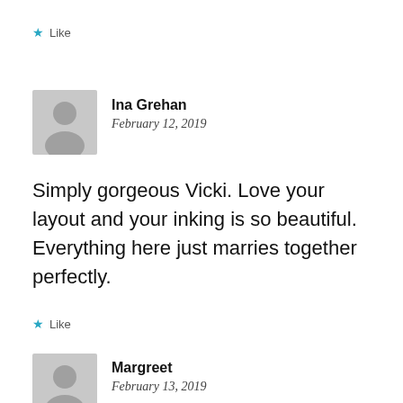★ Like
[Figure (illustration): Grey silhouette avatar icon for user Ina Grehan]
Ina Grehan
February 12, 2019
Simply gorgeous Vicki. Love your layout and your inking is so beautiful. Everything here just marries together perfectly.
★ Like
[Figure (illustration): Grey silhouette avatar icon for user Margreet]
Margreet
February 13, 2019